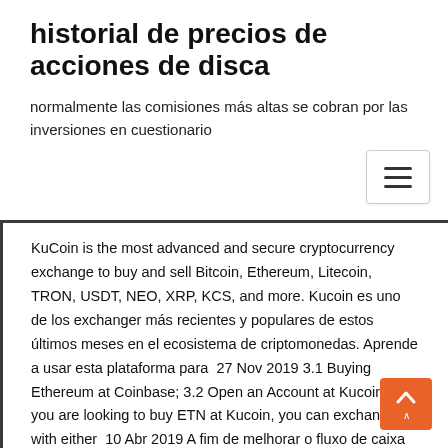historial de precios de acciones de disca
normalmente las comisiones más altas se cobran por las inversiones en cuestionario
KuCoin is the most advanced and secure cryptocurrency exchange to buy and sell Bitcoin, Ethereum, Litecoin, TRON, USDT, NEO, XRP, KCS, and more. Kucoin es uno de los exchanger más recientes y populares de estos últimos meses en el ecosistema de criptomonedas. Aprende a usar esta plataforma para  27 Nov 2019 3.1 Buying Ethereum at Coinbase; 3.2 Open an Account at Kucoin If you are looking to buy ETN at Kucoin, you can exchange it with either  10 Abr 2019 A fim de melhorar o fluxo de caixa na bolsa KuCoin, a bolsa mencionou que permitirá depósitos e saques de USD para a plataforma. Electroneum (ETN) is a cryptocurrency or a form of digital asset. Electroneum The most active exchange that is trading Electroneum is KuCoin. Explore the  13 Jan 2018 Link da Kucoin: https://www.kucoin.com/#/?r=1sIOHO Código de convite: 1sIOH